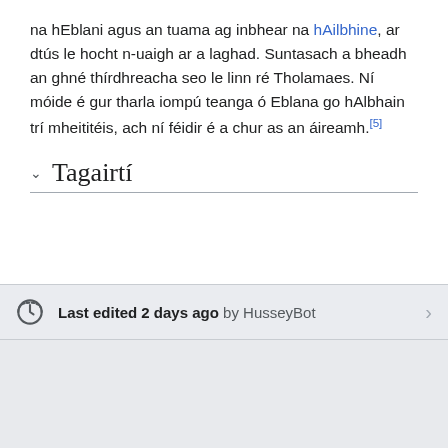na hEblani agus an tuama ag inbhear na hAilbhine, ar dtús le hocht n-uaigh ar a laghad. Suntasach a bheadh an ghné thírdhreacha seo le linn ré Tholamaes. Ní móide é gur tharla iompú teanga ó Eblana go hAlbhain trí mheititéis, ach ní féidir é a chur as an áireamh.[5]
Tagairtí
Last edited 2 days ago by HusseyBot